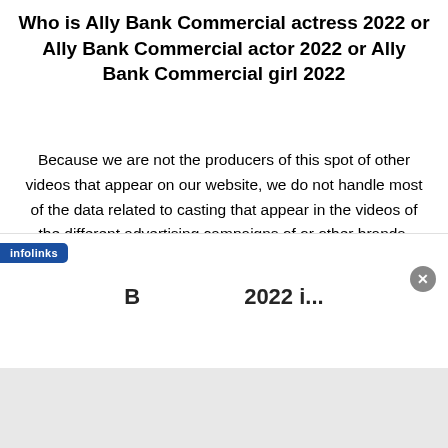Who is Ally Bank Commercial actress 2022 or Ally Bank Commercial actor 2022 or Ally Bank Commercial girl 2022
Because we are not the producers of this spot of other videos that appear on our website, we do not handle most of the data related to casting that appear in the videos of the different advertising campaigns of or other brands, However, we invite you to know if you know the casting, write us to include it in the video information